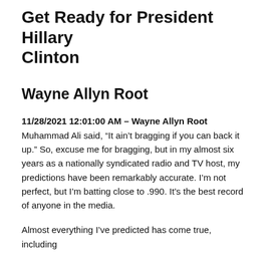Get Ready for President Hillary Clinton
Wayne Allyn Root
11/28/2021 12:01:00 AM – Wayne Allyn Root
Muhammad Ali said, “It ain’t bragging if you can back it up.” So, excuse me for bragging, but in my almost six years as a nationally syndicated radio and TV host, my predictions have been remarkably accurate. I’m not perfect, but I’m batting close to .990. It’s the best record of anyone in the media.
Almost everything I’ve predicted has come true, including